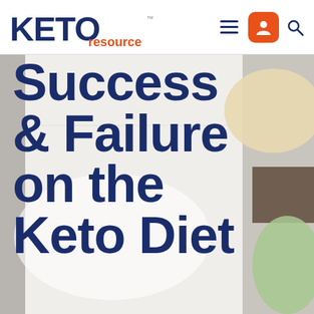[Figure (logo): KETO resource logo with orange 'resource' text and trademark symbol]
[Figure (screenshot): Website navigation header with hamburger menu icon, orange account icon button, and search icon]
[Figure (photo): Background food/powder image with overlaid bold dark blue text reading 'Success & Failure on the Keto Diet']
Success & Failure on the Keto Diet